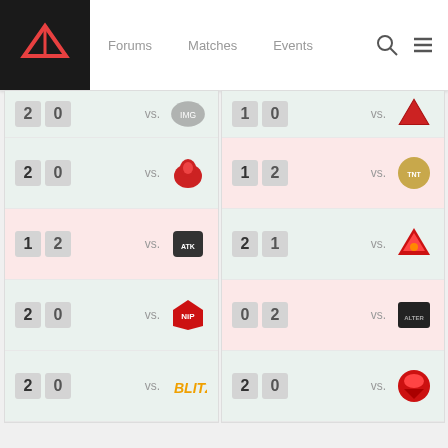Forums   Matches   Events
[Figure (screenshot): Match results panel left: rows showing scores 2-0, 1-2, 2-0, 2-0 vs various team logos]
[Figure (screenshot): Match results panel right: rows showing scores 1-2, 2-1, 0-2, 2-0 vs various team logos]
COMMENTS:
Hide Pre-match
Threaded
Linear
#1   Dizcopotato   12 Frags  +  -